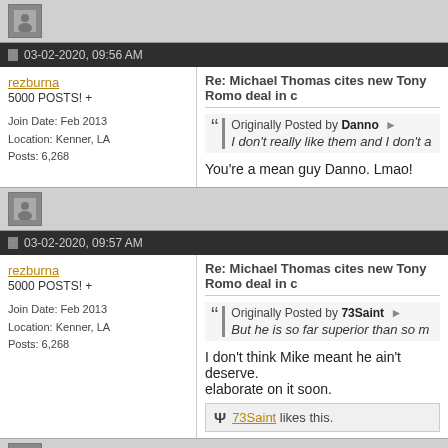[Figure (other): User avatar gray box]
03-02-2020, 09:56 AM
rezburna
5000 POSTS! +
Join Date: Feb 2013
Location: Kenner, LA
Posts: 6,268
Re: Michael Thomas cites new Tony Romo deal in c
Originally Posted by Danno → I don't really like them and I don't a
You're a mean guy Danno. Lmao!
[Figure (other): User avatar gray box]
03-02-2020, 09:57 AM
rezburna
5000 POSTS! +
Join Date: Feb 2013
Location: Kenner, LA
Posts: 6,268
Re: Michael Thomas cites new Tony Romo deal in c
Originally Posted by 73Saint → But he is so far superior than so m
I don't think Mike meant he ain't deserve. elaborate on it soon.
73Saint likes this.
[Figure (other): User avatar gray box]